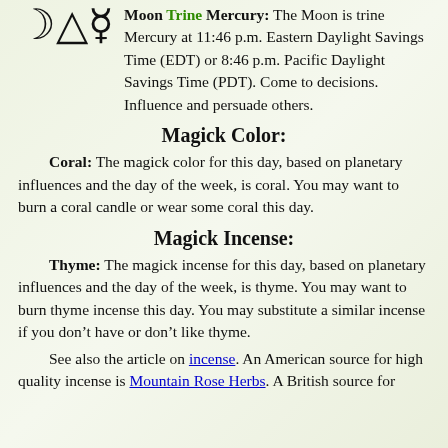[Figure (illustration): Astrological symbols: crescent moon, triangle (trine aspect), Mercury symbol]
Moon Trine Mercury: The Moon is trine Mercury at 11:46 p.m. Eastern Daylight Savings Time (EDT) or 8:46 p.m. Pacific Daylight Savings Time (PDT). Come to decisions. Influence and persuade others.
Magick Color:
Coral: The magick color for this day, based on planetary influences and the day of the week, is coral. You may want to burn a coral candle or wear some coral this day.
Magick Incense:
Thyme: The magick incense for this day, based on planetary influences and the day of the week, is thyme. You may want to burn thyme incense this day. You may substitute a similar incense if you don't have or don't like thyme.
See also the article on incense. An American source for high quality incense is Mountain Rose Herbs. A British source for